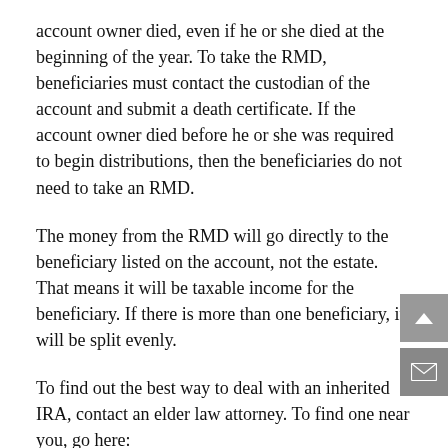account owner died, even if he or she died at the beginning of the year. To take the RMD, beneficiaries must contact the custodian of the account and submit a death certificate. If the account owner died before he or she was required to begin distributions, then the beneficiaries do not need to take an RMD.
The money from the RMD will go directly to the beneficiary listed on the account, not the estate. That means it will be taxable income for the beneficiary. If there is more than one beneficiary, it will be split evenly.
To find out the best way to deal with an inherited IRA, contact an elder law attorney. To find one near you, go here: https://www.elderlawanswers.com/elder-law-attorneys